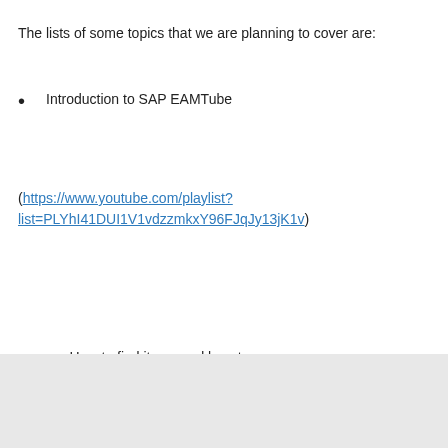The lists of some topics that we are planning to cover are:
Introduction to SAP EAMTube
(https://www.youtube.com/playlist?list=PLYhI41DUI1V1vdzzmkxY96FJqJy13jK1v)
This site uses cookies and related technologies, as described in our privacy statement, for purposes that may include site operation, analytics, enhanced user experience, or advertising. You may choose to consent to our use of these technologies, or manage your own preferences.
Accept Cookies
More Information
Privacy Policy | Powered by: TrustArc
list=PLYhI41DUI1V0kbVqiTRVUdSNWfVisha8)